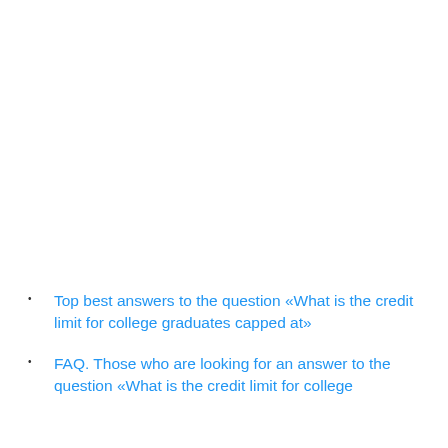Top best answers to the question «What is the credit limit for college graduates capped at»
FAQ. Those who are looking for an answer to the question «What is the credit limit for college